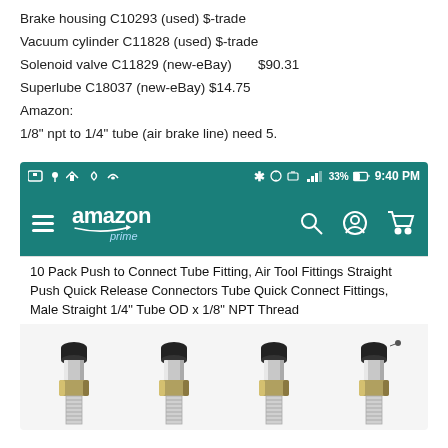Brake housing C10293 (used) $-trade
Vacuum cylinder C11828 (used) $-trade
Solenoid valve C11829 (new-eBay)      $90.31
Superlube C18037 (new-eBay) $14.75
Amazon:
1/8" npt to 1/4" tube (air brake line) need 5.
[Figure (screenshot): Amazon Prime mobile app screenshot showing status bar, Amazon navigation bar, and product listing for '10 Pack Push to Connect Tube Fitting, Air Tool Fittings Straight Push Quick Release Connectors Tube Quick Connect Fittings, Male Straight 1/4" Tube OD x 1/8" NPT Thread' with four chrome push-to-connect fittings shown.]